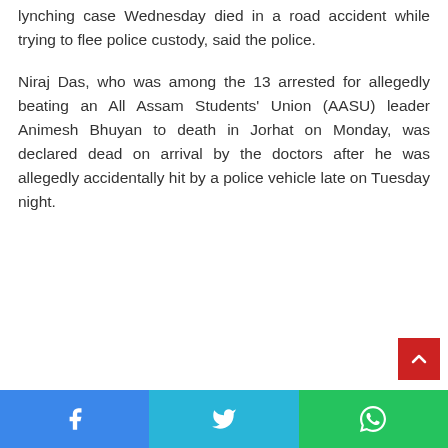lynching case Wednesday died in a road accident while trying to flee police custody, said the police.
Niraj Das, who was among the 13 arrested for allegedly beating an All Assam Students' Union (AASU) leader Animesh Bhuyan to death in Jorhat on Monday, was declared dead on arrival by the doctors after he was allegedly accidentally hit by a police vehicle late on Tuesday night.